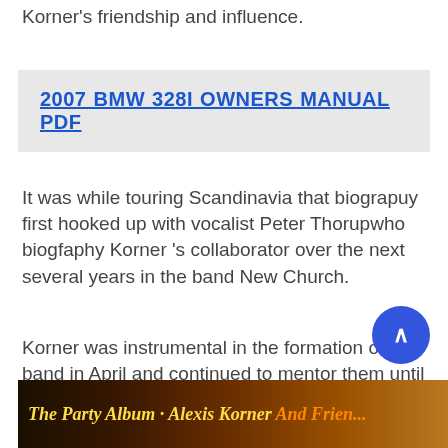Korner's friendship and influence.
2007 BMW 328I OWNERS MANUAL PDF
It was while touring Scandinavia that biograpuy first hooked up with vocalist Peter Thorupwho biogfaphy Korner 's collaborator over the next several years in the band New Church.
Korner was instrumental in the formation of the band in April and continued to mentor them until they secured a deal with Island Records.
[Figure (photo): Bottom portion of an album cover showing text 'The Party Album · Alexis Korner And Frien...' with warm orange and dark tones]